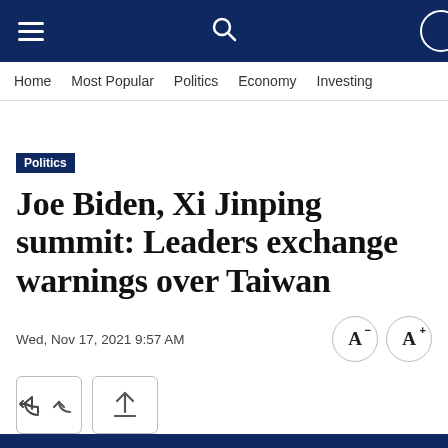Home   Most Popular   Politics   Economy   Investing
Politics
Joe Biden, Xi Jinping summit: Leaders exchange warnings over Taiwan
Wed, Nov 17, 2021 9:57 AM